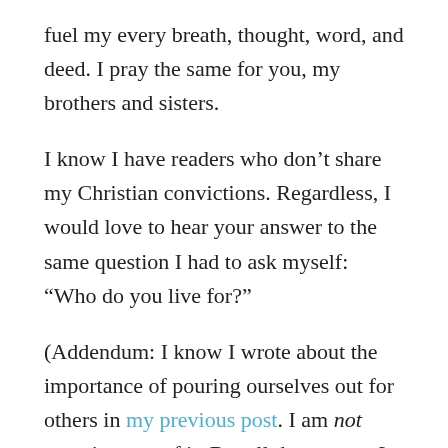fuel my every breath, thought, word, and deed. I pray the same for you, my brothers and sisters.
I know I have readers who don’t share my Christian convictions. Regardless, I would love to hear your answer to the same question I had to ask myself: “Who do you live for?”
(Addendum: I know I wrote about the importance of pouring ourselves out for others in my previous post. I am not negating any of it. But all the reasons I have any desire to serve others are rooted in God: He created us all and He created us all to love Him and love one another. Without God in the picture, living for others eventually